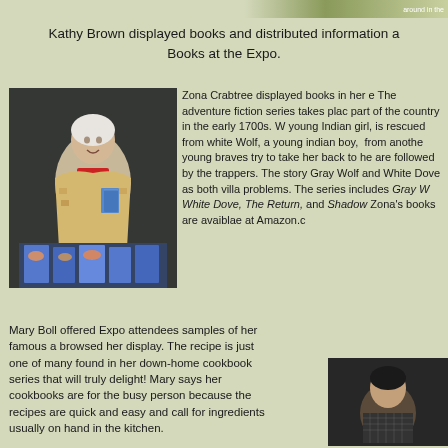Kathy Brown displayed books and distributed information a Books at the Expo.
[Figure (photo): Woman (Zona Crabtree) standing and holding books, with a display of books on a table in front of her]
Zona Crabtree displayed books in her e The adventure fiction series takes plac part of the country in the early 1700s. W young Indian girl, is rescued from white Wolf, a young indian boy, from anothe young braves try to take her back to he are followed by the trappers. The story Gray Wolf and White Dove as both villa problems. The series includes Gray Wo White Dove, The Return, and Shadow Zona's books are avaiblae at Amazon.c
Mary Boll offered Expo attendees samples of her famous a browsed her display. The recipe is just one of many found in her down-home cookbook series that will truly delight! Mary says her cookbooks are for the busy person because the recipes are quick and easy and call for ingredients usually on hand in the kitchen.
[Figure (photo): Woman (Mary Boll) at her display booth at the Expo]